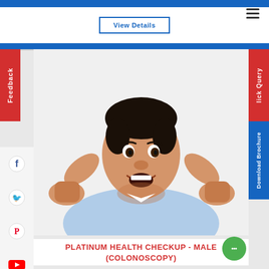View Details
[Figure (photo): Happy young man in a light blue shirt raising both fists in a celebratory gesture, white background]
PLATINUM HEALTH CHECKUP - MALE (COLONOSCOPY)